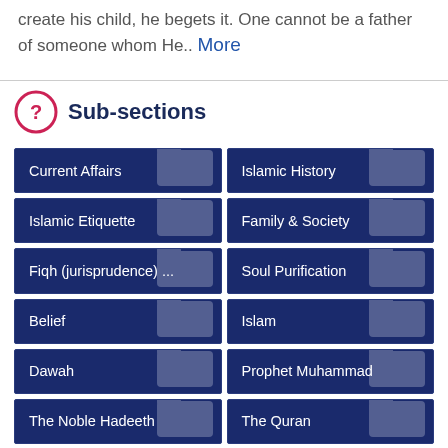create his child, he begets it. One cannot be a father of someone whom He.. More
Sub-sections
Current Affairs
Islamic History
Islamic Etiquette
Family & Society
Fiqh (jurisprudence) ...
Soul Purification
Belief
Islam
Dawah
Prophet Muhammad
The Noble Hadeeth
The Quran